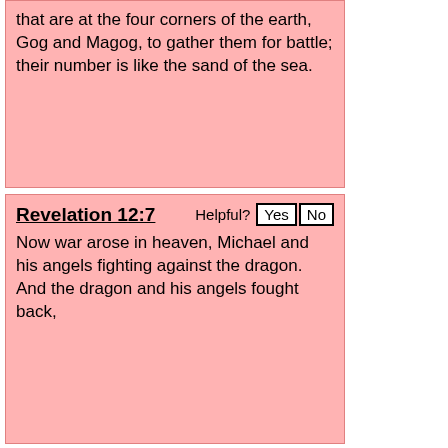that are at the four corners of the earth, Gog and Magog, to gather them for battle; their number is like the sand of the sea.
Revelation 12:7
Now war arose in heaven, Michael and his angels fighting against the dragon. And the dragon and his angels fought back,
Revelation 12:3
And another sign appeared in heaven: behold, a great red dragon, with seven